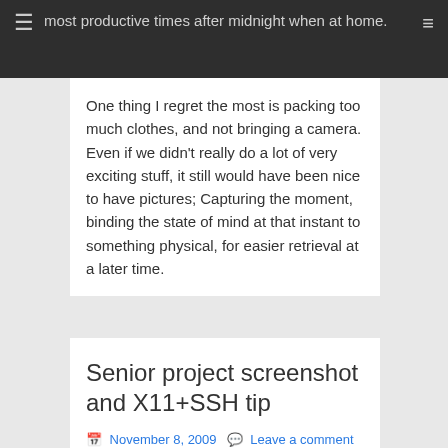most productive times after midnight when at home.
One thing I regret the most is packing too much clothes, and not bringing a camera. Even if we didn't really do a lot of very exciting stuff, it still would have been nice to have pictures; Capturing the moment, binding the state of mind at that instant to something physical, for easier retrieval at a later time.
School  ALICE, ash cloud, CERN, Geneva, hopfe, Switzerland, volcano
Senior project screenshot and X11+SSH tip
November 8, 2009   Leave a comment